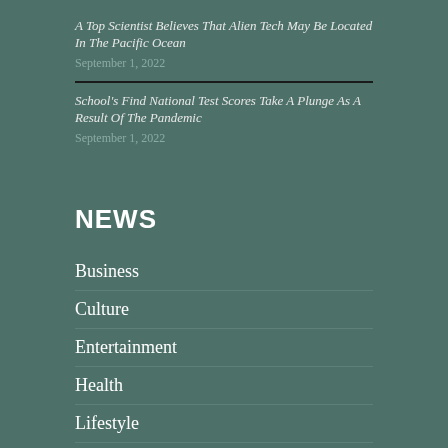A Top Scientist Believes That Alien Tech May Be Located In The Pacific Ocean
September 1, 2022
School's Find National Test Scores Take A Plunge As A Result Of The Pandemic
September 1, 2022
NEWS
Business
Culture
Entertainment
Health
Lifestyle
Real Estate
Science